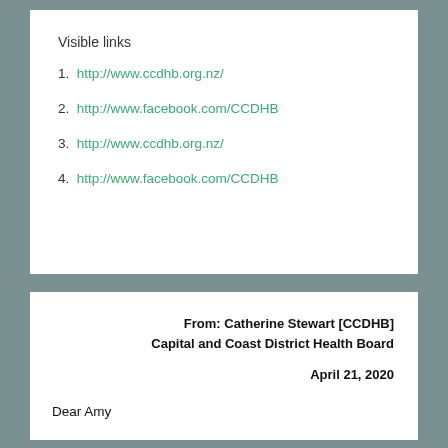Visible links
1. http://www.ccdhb.org.nz/
2. http://www.facebook.com/CCDHB
3. http://www.ccdhb.org.nz/
4. http://www.facebook.com/CCDHB
From: Catherine Stewart [CCDHB]
Capital and Coast District Health Board
April 21, 2020
Dear Amy